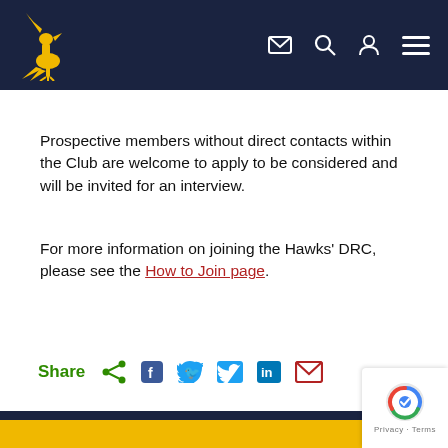[Figure (logo): Hawks DRC website header with dark navy background, golden hawk logo on left, and icons (email, search, user, hamburger menu) on right]
Prospective members without direct contacts within the Club are welcome to apply to be considered and will be invited for an interview.
For more information on joining the Hawks' DRC, please see the How to Join page.
Share [icons: share, Facebook, Twitter, LinkedIn, email]
Footer with dark navy and gold bands